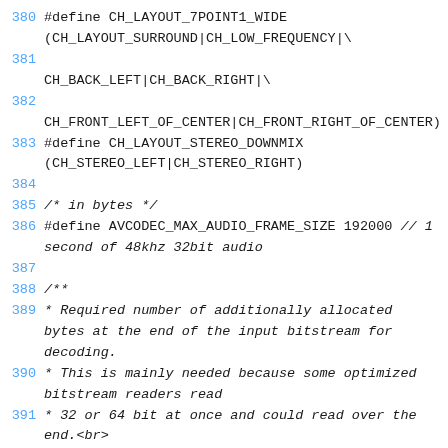380 #define CH_LAYOUT_7POINT1_WIDE (CH_LAYOUT_SURROUND|CH_LOW_FREQUENCY|\
381 
CH_BACK_LEFT|CH_BACK_RIGHT|\
382 
CH_FRONT_LEFT_OF_CENTER|CH_FRONT_RIGHT_OF_CENTER)
383 #define CH_LAYOUT_STEREO_DOWNMIX (CH_STEREO_LEFT|CH_STEREO_RIGHT)
384 
385 /* in bytes */
386 #define AVCODEC_MAX_AUDIO_FRAME_SIZE 192000 // 1 second of 48khz 32bit audio
387 
388 /**
389  * Required number of additionally allocated bytes at the end of the input bitstream for decoding.
390  * This is mainly needed because some optimized bitstream readers read
391  * 32 or 64 bit at once and could read over the end.<br>
392  * Note: If the first 23 bits of the additional bytes are not 0, then damaged
393  * MPEG bitstreams could cause overread and segfault.
394  */